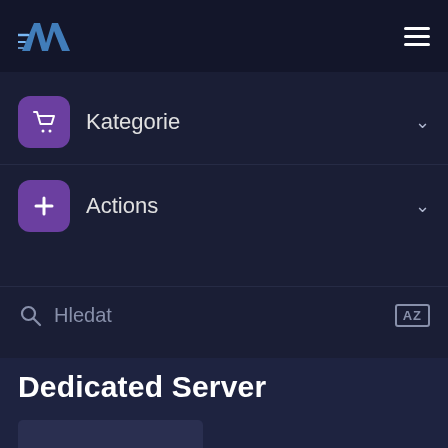AW logo and hamburger menu
Kategorie
Actions
Hledat
Dedicated Server